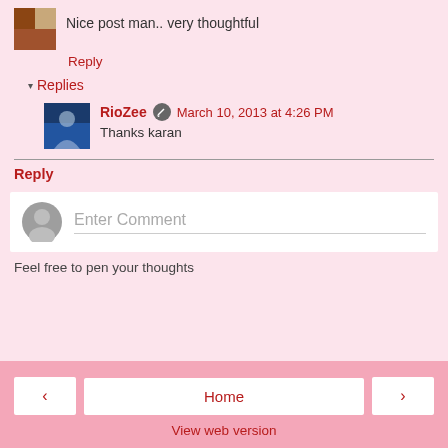Nice post man.. very thoughtful
Reply
▾ Replies
RioZee  March 10, 2013 at 4:26 PM
Thanks karan
Reply
[Figure (screenshot): Comment input box with placeholder text 'Enter Comment' and a generic user avatar icon on the left]
Feel free to pen your thoughts
< Home > View web version